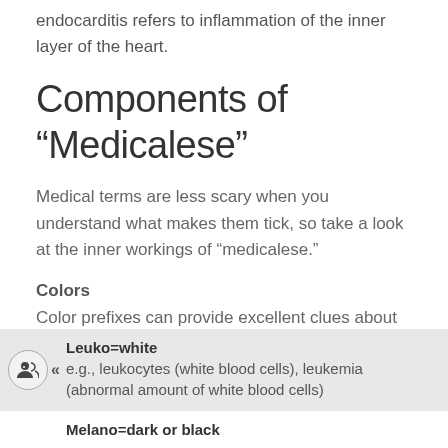endocarditis refers to inflammation of the inner layer of the heart.
Components of “Medicalese”
Medical terms are less scary when you understand what makes them tick, so take a look at the inner workings of “medicalese.”
Colors
Color prefixes can provide excellent clues about the word and its meaning.
Leuko=white
e.g., leukocytes (white blood cells), leukemia (abnormal amount of white blood cells)
Melano=dark or black